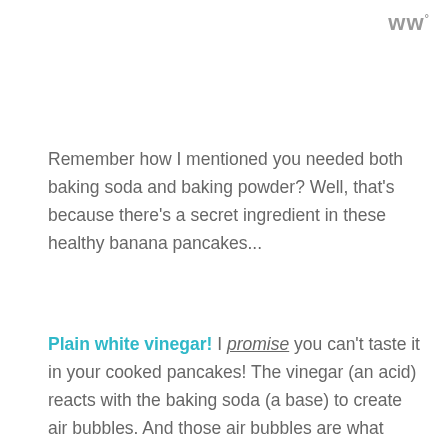ww°
Remember how I mentioned you needed both baking soda and baking powder? Well, that's because there's a secret ingredient in these healthy banana pancakes...
Plain white vinegar! I promise you can't taste it in your cooked pancakes! The vinegar (an acid) reacts with the baking soda (a base) to create air bubbles. And those air bubbles are what make your healthy banana pancakes really light and fluffy!